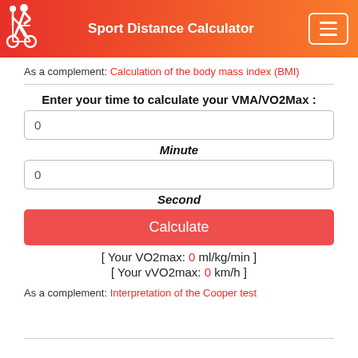Sport Distance Calculator
As a complement: Calculation of the body mass index (BMI)
Enter your time to calculate your VMA/VO2Max :
0
Minute
0
Second
Calculate
[ Your VO2max: 0 ml/kg/min ]
[ Your vVO2max: 0 km/h ]
As a complement: Interpretation of the Cooper test